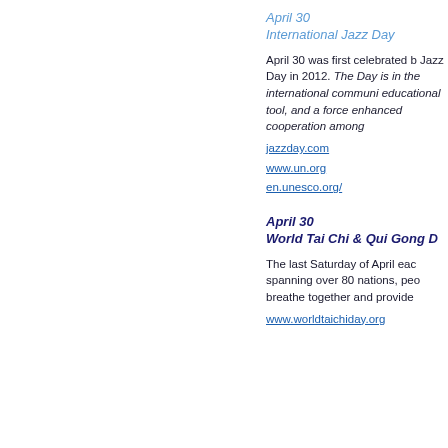April 30
International Jazz Day
April 30 was first celebrated b Jazz Day in 2012. The Day is in the international communi educational tool, and a force enhanced cooperation among
jazzday.com
www.un.org
en.unesco.org/
April 30
World Tai Chi & Qui Gong D
The last Saturday of April eac spanning over 80 nations, peo breathe together and provide
www.worldtaichiday.org